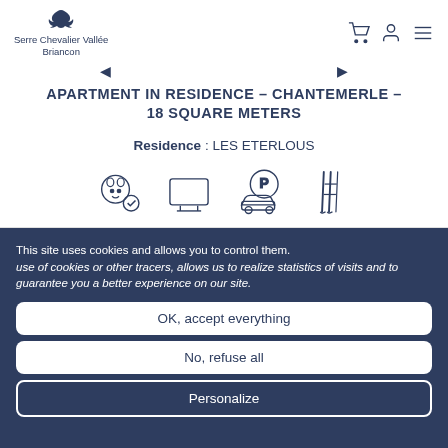Serre Chevalier Vallée Briancon
APARTMENT IN RESIDENCE – CHANTEMERLE – 18 SQUARE METERS
Residence : LES ETERLOUS
[Figure (illustration): Four amenity icons: pet-friendly (dog with checkmark), TV, parking with car, ski equipment]
This site uses cookies and allows you to control them. use of cookies or other tracers, allows us to realize statistics of visits and to guarantee you a better experience on our site.
OK, accept everything
No, refuse all
Personalize